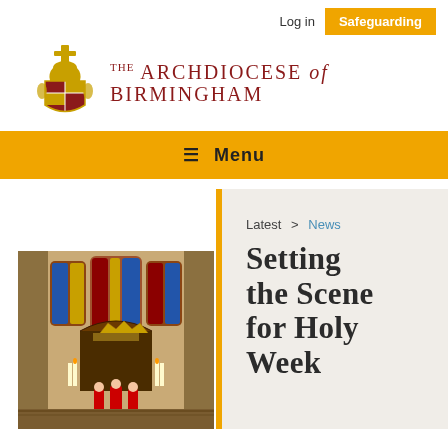Log in   Safeguarding
[Figure (logo): Archdiocese of Birmingham coat of arms / crest logo in gold and red]
THE ARCHDIOCESE of BIRMINGHAM
≡ Menu
[Figure (photo): Interior of a cathedral with clergy in red vestments at the altar, stained glass windows visible]
Latest > News
Setting the Scene for Holy Week